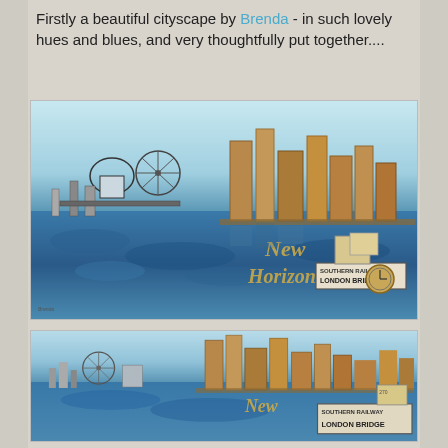Firstly a beautiful cityscape by Brenda - in such lovely hues and blues, and very thoughtfully put together....
[Figure (illustration): Mixed media artwork showing a London/New York cityscape with blue hues. Left side shows stamped black-and-white London skyline (Big Ben, dome, Ferris wheel, London Bridge). Right side shows brown chipboard modern skyscrapers. Lower half has blue watercolor water reflections with 'New Horizons' text and a 'Southern Railway to London Bridge' sign and clock embellishments.]
[Figure (illustration): Second view (closer/cropped) of the same mixed media cityscape artwork. Shows the Ferris wheel and London skyline on left, brown chipboard skyscrapers on right, blue watercolor water below, partial 'New' text visible, and 'Southern Railway to London Bridge' sign prominent in lower right.]